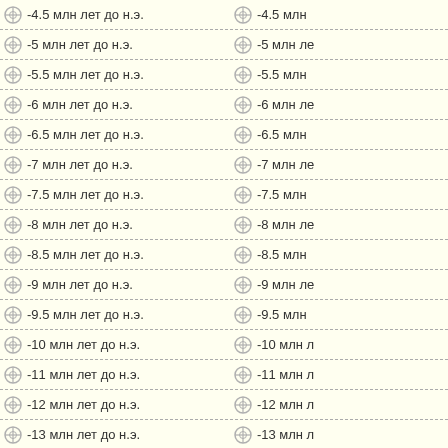-4.5 млн лет до н.э.
-5 млн лет до н.э.
-5.5 млн лет до н.э.
-6 млн лет до н.э.
-6.5 млн лет до н.э.
-7 млн лет до н.э.
-7.5 млн лет до н.э.
-8 млн лет до н.э.
-8.5 млн лет до н.э.
-9 млн лет до н.э.
-9.5 млн лет до н.э.
-10 млн лет до н.э.
-11 млн лет до н.э.
-12 млн лет до н.э.
-13 млн лет до н.э.